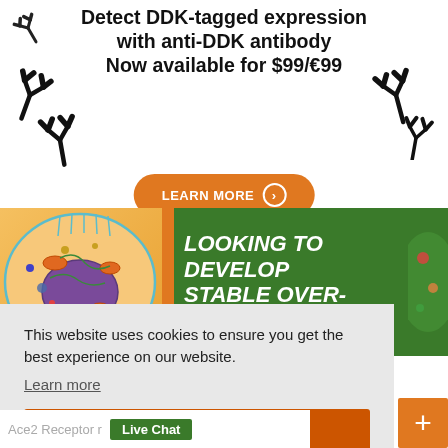[Figure (illustration): Small antibody Y-shape icon top-left corner]
Detect DDK-tagged expression with anti-DDK antibody Now available for $99/€99
[Figure (illustration): Large antibody Y-shape illustrations on left and right sides of banner]
[Figure (illustration): Orange button: LEARN MORE with arrow]
[Figure (illustration): Cell biology illustration on left side of green banner]
LOOKING TO DEVELOP STABLE OVER- EXPRESSION CELL
This website uses cookies to ensure you get the best experience on our website.
Learn more
Got it!
Ace2 Receptor r
Live Chat